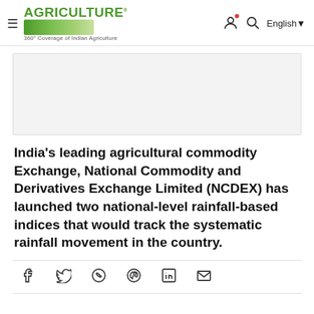Agriculture Times — 360° Coverage of Indian Agriculture | English
[Figure (illustration): Advertisement banner placeholder (grey rectangle)]
India's leading agricultural commodity Exchange, National Commodity and Derivatives Exchange Limited (NCDEX) has launched two national-level rainfall-based indices that would track the systematic rainfall movement in the country.
[Figure (infographic): Social share icons: Facebook, Twitter, WhatsApp, Pinterest, LinkedIn, Email]